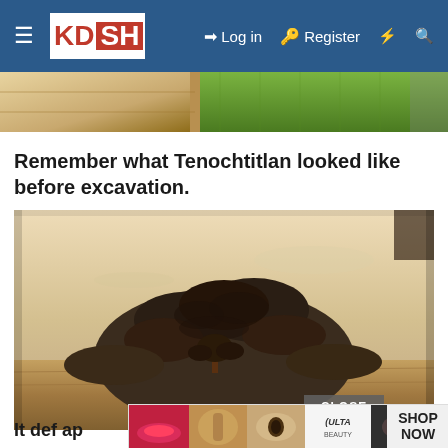KDSH — Log in | Register
[Figure (photo): Partial top image showing wooden structure and green grass field]
Remember what Tenochtitlan looked like before excavation.
[Figure (photo): Sepia-toned historical photograph of a large earthen mound covered in vegetation with a single tree in the foreground on a flat plain, pre-excavation Tenochtitlan]
It def ap